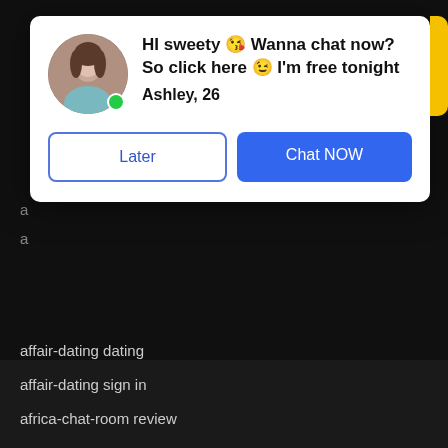[Figure (screenshot): Dating site chat popup modal with avatar photo of a young woman, green online indicator, bold headline text, name label, and two buttons (Later and Chat NOW). Background shows a dark website with a list of dating-related links.]
affair-dating dating
affair-dating sign in
africa-chat-room review
africa-dating dating
africa-dating reviews
african dating reviews
African Dating Sites advice
African Dating Sites best sites
African Dating Sites free
African Dating Sites service